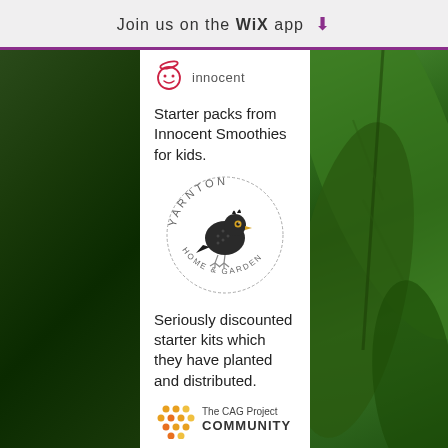Join us on the WiX app ↓
[Figure (logo): Innocent Smoothies logo — circular face icon with halo in red/pink, text 'innocent' beside it]
Starter packs from Innocent Smoothies for kids.
[Figure (logo): Yarnton Home & Garden circular logo with a blackbird illustration in the center, text 'YARNTON' arced on top and 'HOME & GARDEN' arced on bottom]
Seriously discounted starter kits which they have planted and distributed.
[Figure (logo): The CAG Project Community logo — circular dots pattern in orange/yellow beside text 'The CAG Project' and 'COMMUNITY']